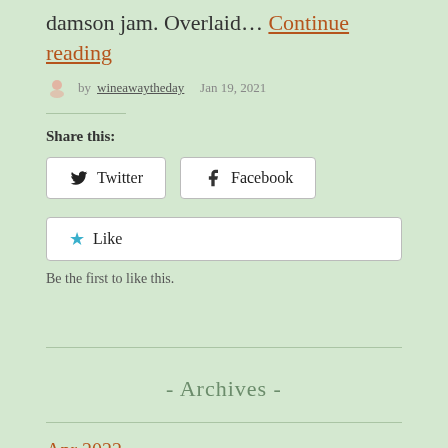… scones, crumpets and crumbles with damson jam. Overlaid… Continue reading
by wineawaytheday   Jan 19, 2021
Share this:
Twitter   Facebook
Like
Be the first to like this.
- Archives -
Apr 2022